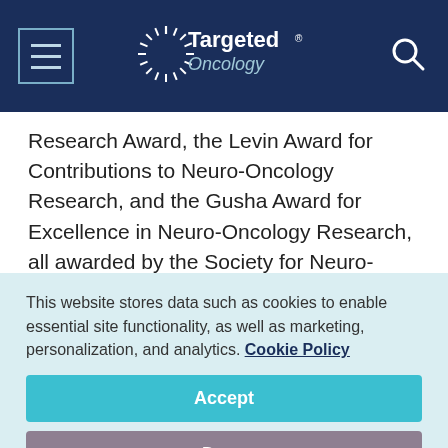Targeted Oncology
Research Award, the Levin Award for Contributions to Neuro-Oncology Research, and the Gusha Award for Excellence in Neuro-Oncology Research, all awarded by the Society for Neuro-Oncology. He was named one of the Best Doctors in America from 2005 to 2011.
He was the president of Society for Neuro-Oncology
This website stores data such as cookies to enable essential site functionality, as well as marketing, personalization, and analytics. Cookie Policy
Accept
Deny